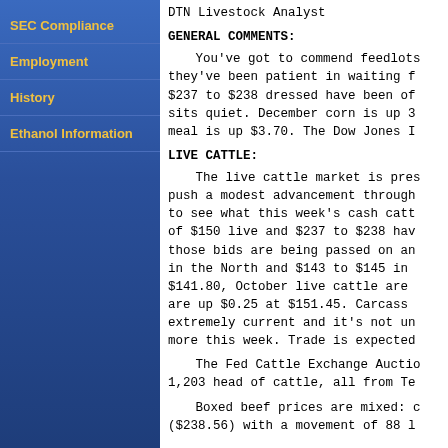SEC Compliance
Employment
History
Ethanol Information
DTN Livestock Analyst
GENERAL COMMENTS:
You've got to commend feedlots they've been patient in waiting f $237 to $238 dressed have been of sits quiet. December corn is up 3 meal is up $3.70. The Dow Jones I
LIVE CATTLE:
The live cattle market is pres push a modest advancement through to see what this week's cash catt of $150 live and $237 to $238 hav those bids are being passed on an in the North and $143 to $145 in $141.80, October live cattle are are up $0.25 at $151.45. Carcass extremely current and it's not un more this week. Trade is expected
The Fed Cattle Exchange Auctio 1,203 head of cattle, all from Te
Boxed beef prices are mixed: c ($238.56) with a movement of 88 l